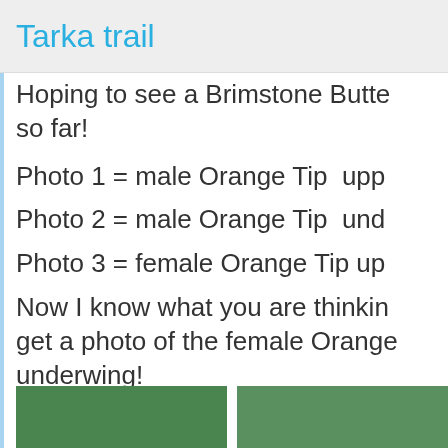Tarka trail
Hoping to see a Brimstone Butterfly so far!
Photo 1 = male Orange Tip  upp
Photo 2 = male Orange Tip  und
Photo 3 = female Orange Tip up
Now I know what you are thinking get a photo of the female Orange underwing!
[Figure (photo): Two thumbnail photos of butterflies/plants at the bottom of the page]